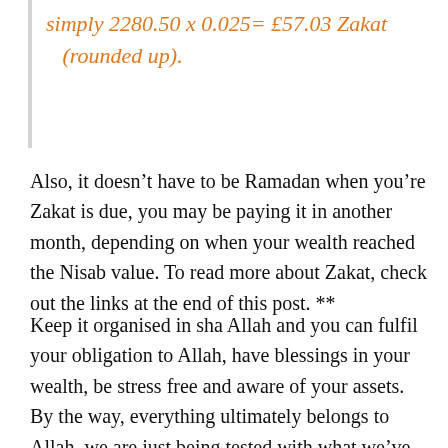simply 2280.50 x 0.025= £57.03 Zakat (rounded up).
Also, it doesn't have to be Ramadan when you're Zakat is due, you may be paying it in another month, depending on when your wealth reached the Nisab value. To read more about Zakat, check out the links at the end of this post. **
Keep it organised in sha Allah and you can fulfil your obligation to Allah, have blessings in your wealth, be stress free and aware of your assets. By the way, everything ultimately belongs to Allah, we are just being tested with what we've been entrusted with!